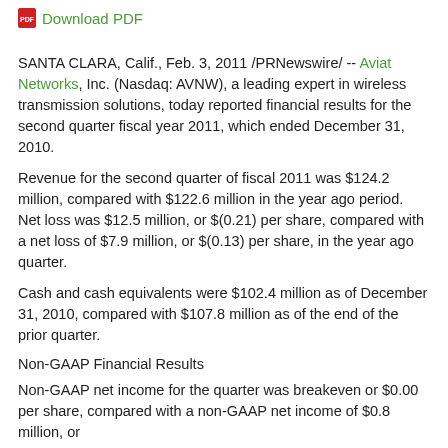Download PDF
SANTA CLARA, Calif., Feb. 3, 2011 /PRNewswire/ -- Aviat Networks, Inc. (Nasdaq: AVNW), a leading expert in wireless transmission solutions, today reported financial results for the second quarter fiscal year 2011, which ended December 31, 2010.
Revenue for the second quarter of fiscal 2011 was $124.2 million, compared with $122.6 million in the year ago period.  Net loss was $12.5 million, or $(0.21) per share, compared with a net loss of $7.9 million, or $(0.13) per share, in the year ago quarter.
Cash and cash equivalents were $102.4 million as of December 31, 2010, compared with $107.8 million as of the end of the prior quarter.
Non-GAAP Financial Results
Non-GAAP net income for the quarter was breakeven or $0.00 per share, compared with a non-GAAP net income of $0.8 million, or